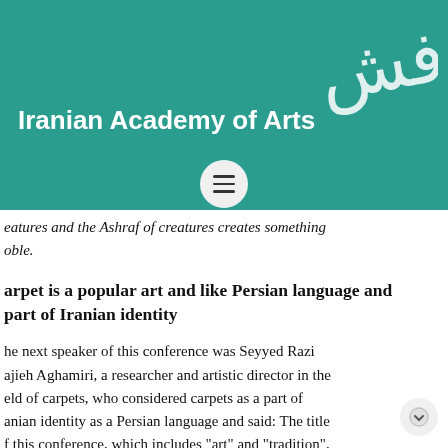Iranian Academy of Arts
eatures and the Ashraf of creatures creates something noble.
arpet is a popular art and like Persian language and part of Iranian identity
he next speaker of this conference was Seyyed Razi ajieh Aghamiri, a researcher and artistic director in the eld of carpets, who considered carpets as a part of anian identity as a Persian language and said: The title f this conference, which includes "art" and "tradition", as different forms: One defines art in one way and the